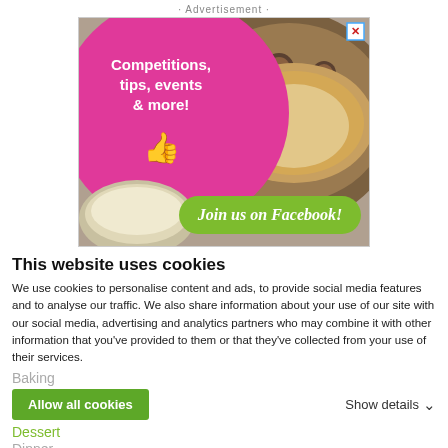· Advertisement ·
[Figure (photo): Advertisement banner showing food (mushroom chicken in a pan) with pink blob containing text 'Competitions, tips, events & more!' and a thumbs up icon, plus a green pill button 'Join us on Facebook!' and a bowl of mashed potatoes]
This website uses cookies
We use cookies to personalise content and ads, to provide social media features and to analyse our traffic. We also share information about your use of our site with our social media, advertising and analytics partners who may combine it with other information that you've provided to them or that they've collected from your use of their services.
Baking
Allow all cookies
Show details
Dessert
Dinner